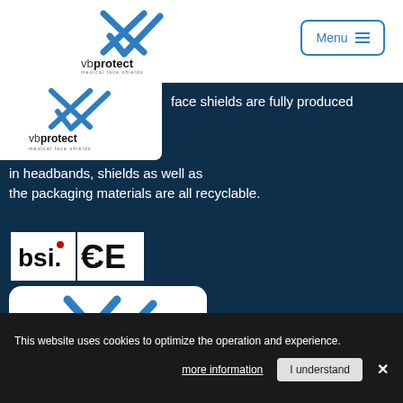[Figure (logo): vbprotect medical face shields logo — blue X and checkmark with text vbprotect medical face shields]
[Figure (other): Menu button with hamburger lines and blue border]
face shields are fully produced in headbands, shields as well as the packaging materials are all recyclable.
[Figure (logo): BSI and CE certification logos]
[Figure (logo): vbprotect medical logo on white card with blue X and checkmark icon]
This website uses cookies to optimize the operation and experience.
more information
I understand